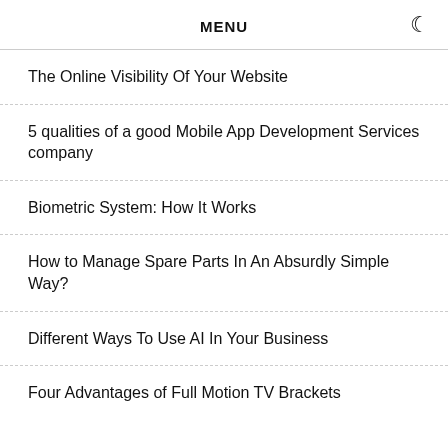MENU
The Online Visibility Of Your Website
5 qualities of a good Mobile App Development Services company
Biometric System: How It Works
How to Manage Spare Parts In An Absurdly Simple Way?
Different Ways To Use AI In Your Business
Four Advantages of Full Motion TV Brackets